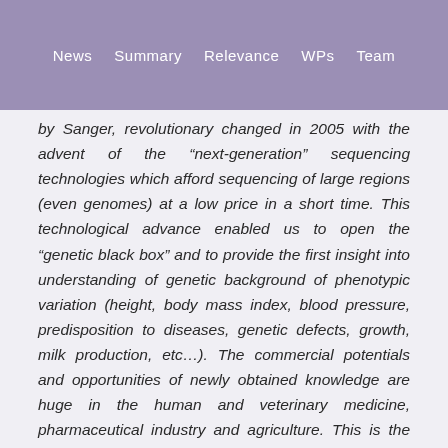News  Summary  Relevance  WPs  Team
by Sanger, revolutionary changed in 2005 with the advent of the “next-generation” sequencing technologies which afford sequencing of large regions (even genomes) at a low price in a short time. This technological advance enabled us to open the “genetic black box” and to provide the first insight into understanding of genetic background of phenotypic variation (height, body mass index, blood pressure, predisposition to diseases, genetic defects, growth, milk production, etc…). The commercial potentials and opportunities of newly obtained knowledge are huge in the human and veterinary medicine, pharmaceutical industry and agriculture. This is the reason for the fast growth of research concentrated on the genomic dissection of phenotypic variability,